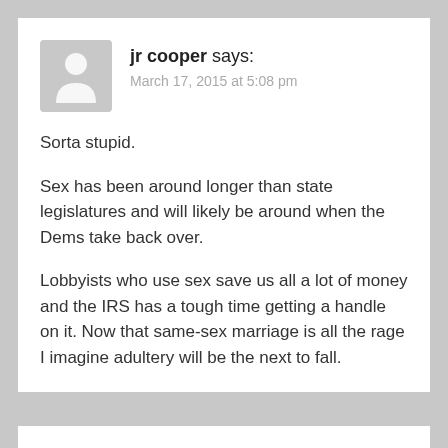[Figure (illustration): Generic user avatar icon: grey silhouette of a person on a grey rounded rectangle background]
jr cooper says:
March 17, 2015 at 5:08 pm
Sorta stupid.
Sex has been around longer than state legislatures and will likely be around when the Dems take back over.
Lobbyists who use sex save us all a lot of money and the IRS has a tough time getting a handle on it. Now that same-sex marriage is all the rage I imagine adultery will be the next to fall.